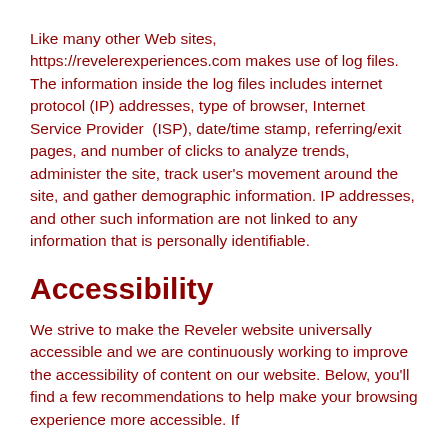Like many other Web sites, https://revelerexperiences.com makes use of log files. The information inside the log files includes internet protocol (IP) addresses, type of browser, Internet Service Provider  (ISP), date/time stamp, referring/exit pages, and number of clicks to analyze trends, administer the site, track user's movement around the site, and gather demographic information. IP addresses, and other such information are not linked to any information that is personally identifiable.
Accessibility
We strive to make the Reveler website universally accessible and we are continuously working to improve the accessibility of content on our website. Below, you'll find a few recommendations to help make your browsing experience more accessible. If